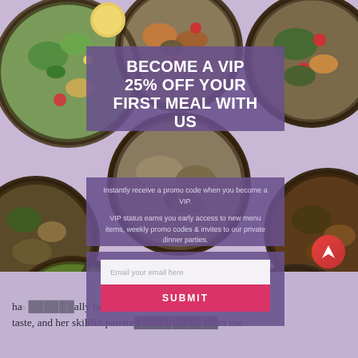[Figure (photo): Background collage of colorful food bowls (salads, grain bowls, roasted vegetables) arranged in a grid on a lavender/purple background]
BECOME A VIP
25% OFF YOUR FIRST MEAL WITH US
Instantly receive a promo code when you become a VIP.
VIP status earns you early access to new menu items, weekly promo codes & invites to our private dinner parties.
Email your email here
SUBMIT
has naturally been customized to the taste, and her skillful palette...